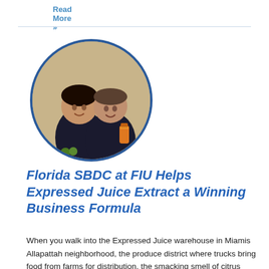Read More »
[Figure (photo): Two men smiling, wearing dark polo shirts, one holding an orange juice bottle, displayed in a circular crop with a dark blue border]
Florida SBDC at FIU Helps Expressed Juice Extract a Winning Business Formula
When you walk into the Expressed Juice warehouse in Miamis Allapattah neighborhood, the produce district where trucks bring food from farms for distribution, the smacking smell of citrus instantly...